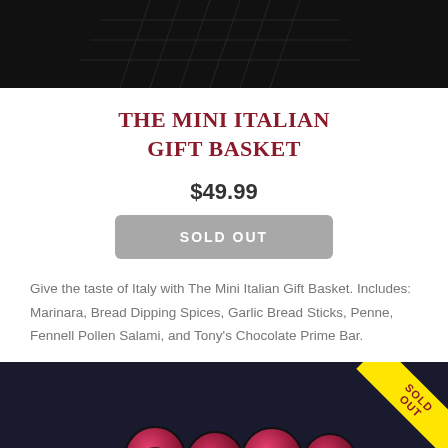[Figure (photo): Top portion of a gift basket product photo on dark background]
THE MINI ITALIAN GIFT BASKET
$49.99
SOLD OUT
Give the taste of Italy with The Mini Italian Gift Basket. Includes: Marinara, Bread Dipping Spices, Garlic Bread Sticks, Penne, Fennell Pollen Salami, and Tony's Chocolate Prime Bar.
[Figure (photo): Bottom product photo on dark background showing pink/red circular items with a yellow 'SOLD OUT' diagonal banner in the top right corner]